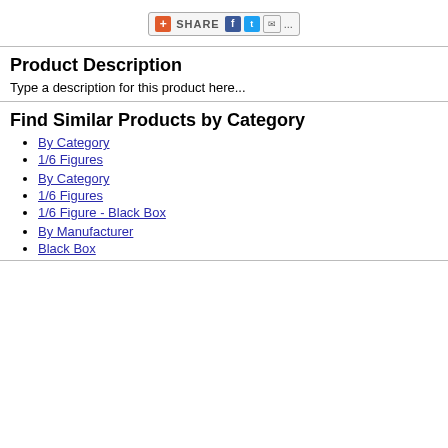[Figure (screenshot): Share bar widget with plus icon, SHARE label, Facebook, Twitter, email icons, and ellipsis]
Product Description
Type a description for this product here...
Find Similar Products by Category
By Category
1/6 Figures
By Category
1/6 Figures
1/6 Figure - Black Box
By Manufacturer
Black Box